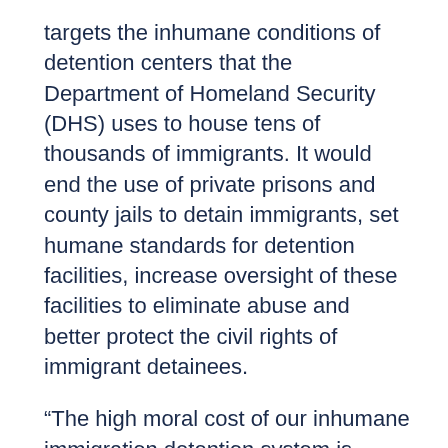targets the inhumane conditions of detention centers that the Department of Homeland Security (DHS) uses to house tens of thousands of immigrants. It would end the use of private prisons and county jails to detain immigrants, set humane standards for detention facilities, increase oversight of these facilities to eliminate abuse and better protect the civil rights of immigrant detainees.
“The high moral cost of our inhumane immigration detention system is reprehensible. The Trump administration’s decision to deny bond hearings for people seeking asylum is just another cruel step in their attacks against asylum seekers and families that will pave the way to more family separation and untenable choices,” Rep. Jayapal said. “Our Dignity for Detained Immigrants Act restores our values as a country by eliminating mandatory